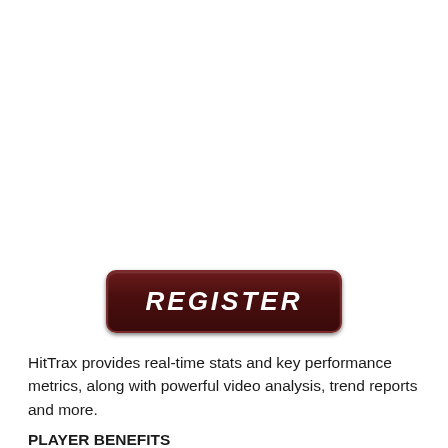[Figure (other): A dark maroon rounded rectangle button with italic bold white text reading REGISTER]
HitTrax provides real-time stats and key performance metrics, along with powerful video analysis, trend reports and more.
PLAYER BENEFITS